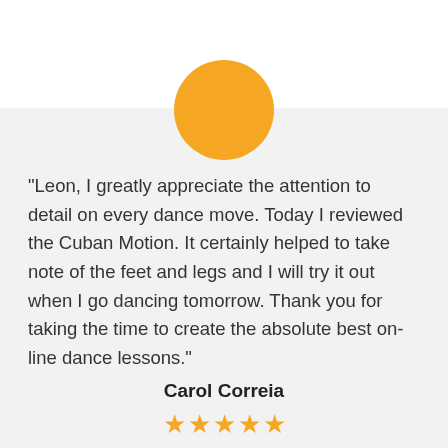[Figure (illustration): A circular orange/amber avatar placeholder circle above a speech bubble testimonial card]
"Leon, I greatly appreciate the attention to detail on every dance move. Today I reviewed the Cuban Motion. It certainly helped to take note of the feet and legs and I will try it out when I go dancing tomorrow. Thank you for taking the time to create the absolute best on-line dance lessons."
Carol Correia
[Figure (illustration): Five gold star rating icons]